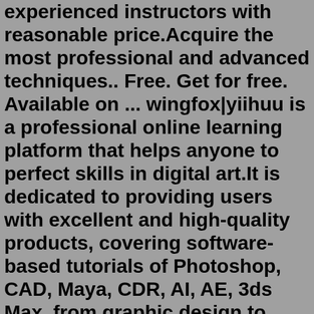experienced instructors with reasonable price.Acquire the most professional and advanced techniques.. Free. Get for free. Available on ... wingfox|yiihuu is a professional online learning platform that helps anyone to perfect skills in digital art.It is dedicated to providing users with excellent and high-quality products, covering software-based tutorials of Photoshop, CAD, Maya, CDR, AI, AE, 3ds Max, from graphic design to game production, visual effect, UI design and so on.Download WingFox_-_Lady_Gunslinger_-_A_tutorial_of ...Be the wings of artists. Wingfox is a digital art online platform providing professional one-stop services for students learning 2D and 3D, practitioners and CG enthusiasts.Take a course on game art, VFX, graphic design and more from experienced instructors with reasonable price.Acquire the most professional and advanced techniques.wingfox|yiihuu is a professional online learning platform that helps anyone to perfect skills in digital art. It is dedicated to providing users with excellent and high-quality products, covering